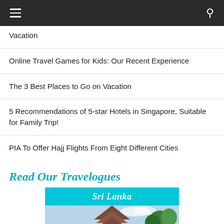Navigation bar with menu and search icons
Vacation
Online Travel Games for Kids: Our Recent Experience
The 3 Best Places to Go on Vacation
5 Recommendations of 5-star Hotels in Singapore, Suitable for Family Trip!
PIA To Offer Hajj Flights From Eight Different Cities
Read Our Travelogues
[Figure (photo): Sri Lanka travelogue image with cyan banner header and photo of temple/pagoda roof with trees in background]